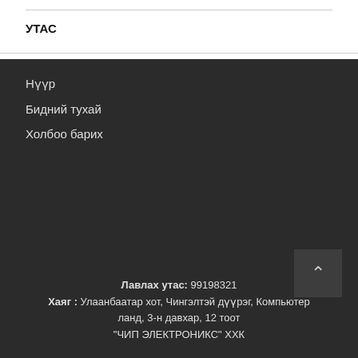УТАС
Нүүр
Бидний тухай
Холбоо барих
Лавлах утас: 99198321
Хаяг : Улаанбаатар хот, Чингэлтэй дүүрэг, Компьютер ланд, 3-н давхар, 12 тоот
"ЧИП ЭЛЕКТРОНИКС" ХХК